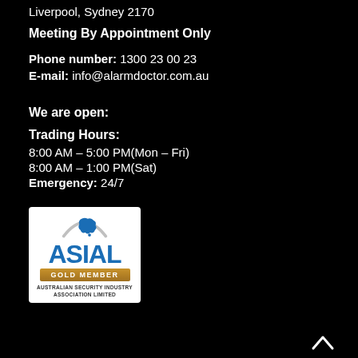Liverpool, Sydney 2170
Meeting By Appointment Only
Phone number: 1300 23 00 23
E-mail: info@alarmdoctor.com.au
We are open:
Trading Hours:
8:00 AM – 5:00 PM(Mon – Fri)
8:00 AM – 1:00 PM(Sat)
Emergency: 24/7
[Figure (logo): ASIAL Gold Member badge — Australian Security Industry Association Limited logo with blue map of Australia, blue ASIAL text, gold 'GOLD MEMBER' banner, and small subtext.]